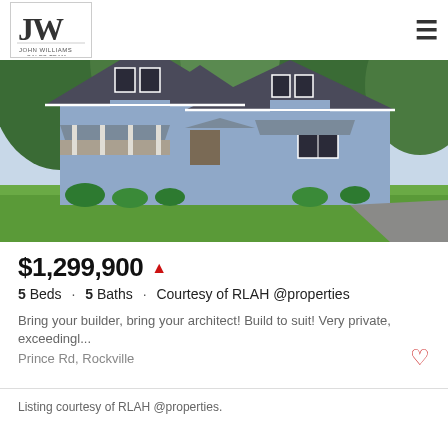JW John Williams Sales Team
[Figure (photo): Exterior photo of a two-story blue-gray craftsman-style house with dark roof, white trim, covered porch, and green landscaping on a sunny day.]
$1,299,900
5 Beds · 5 Baths · Courtesy of RLAH @properties
Bring your builder, bring your architect! Build to suit! Very private, exceedingl...
Prince Rd, Rockville
Listing courtesy of RLAH @properties.